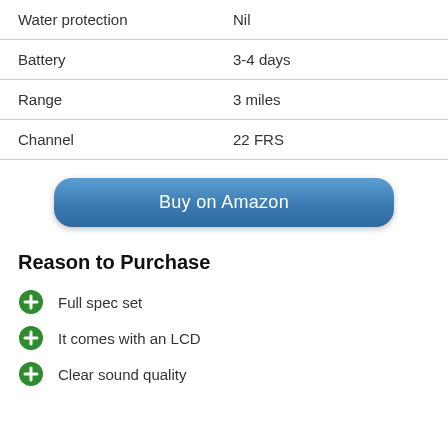| Water protection | Nil |
| Battery | 3-4 days |
| Range | 3 miles |
| Channel | 22 FRS |
[Figure (other): Blue rounded rectangle button labeled 'Buy on Amazon']
Reason to Purchase
Full spec set
It comes with an LCD
Clear sound quality